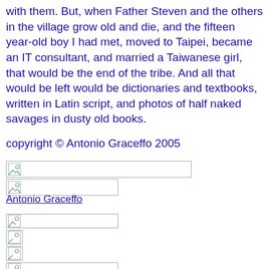with them. But, when Father Steven and the others in the village grow old and die, and the fifteen year-old boy I had met, moved to Taipei, became an IT consultant, and married a Taiwanese girl, that would be the end of the tribe. And all that would be left would be dictionaries and textbooks, written in Latin script, and photos of half naked savages in dusty old books.
copyright © Antonio Graceffo 2005
[Figure (other): Broken image placeholder - wide]
[Figure (other): Broken image placeholder - medium]
Antonio Graceffo
[Figure (other): Broken image placeholder - medium]
[Figure (other): Broken image placeholder - tiny]
[Figure (other): Broken image placeholder - tiny]
[Figure (other): Broken image placeholder - medium]